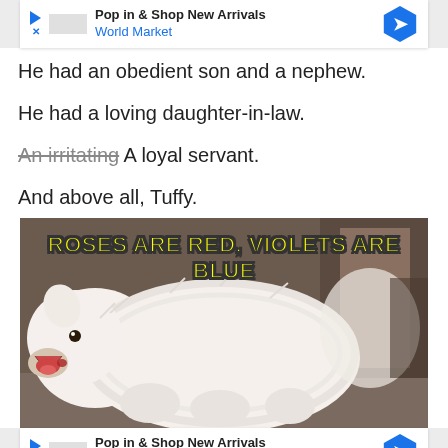[Figure (other): Advertisement banner: Pop in & Shop New Arrivals - World Market with blue diamond arrow icon]
He had an obedient son and a nephew.
He had a loving daughter-in-law.
An irritating A loyal servant.
And above all, Tuffy.
[Figure (photo): Meme image of a white fluffy dog (Samoyed) with mouth open, overlaid with bold yellow text reading ROSES ARE RED, VIOLETS ARE BLUE]
[Figure (other): Advertisement banner (bottom): Pop in & Shop New Arrivals - World Market with blue diamond arrow icon]